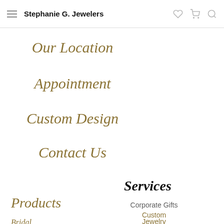Stephanie G. Jewelers
Our Location
Appointment
Custom Design
Contact Us
Services
Products
Corporate Gifts
Custom Jewelry Designs
Bridal
Designs